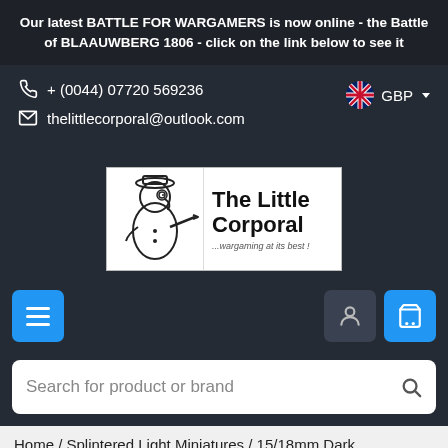Our latest BATTLE FOR WARGAMERS is now online - the Battle of BLAAUWBERG 1806 - click on the link below to see it
+ (0044) 07720 569236
thelittlecorporal@outlook.com
GBP
[Figure (logo): The Little Corporal wargaming shop logo — cartoon soldier pointing right, with text 'The Little Corporal ...wargaming at its best!']
[Figure (infographic): Navigation bar with hamburger menu button (blue), user account button (dark grey), and shopping cart button (blue)]
Search for product or brand
Home / Splintered Light Miniatures / 15/18mm Dark